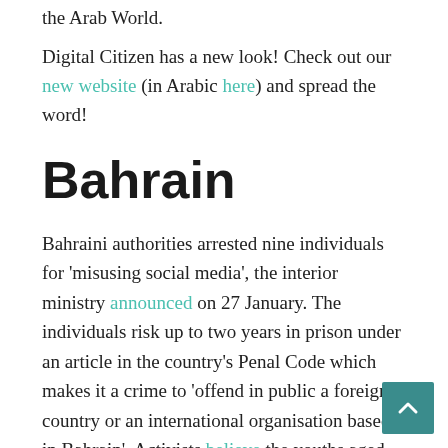the Arab World.
Digital Citizen has a new look! Check out our new website (in Arabic here) and spread the word!
Bahrain
Bahraini authorities arrested nine individuals for 'misusing social media', the interior ministry announced on 27 January. The individuals risk up to two years in prison under an article in the country's Penal Code which makes it a crime to 'offend in public a foreign country or an international organisation based in Bahrain'. Activists believe the youths aged between 19 and